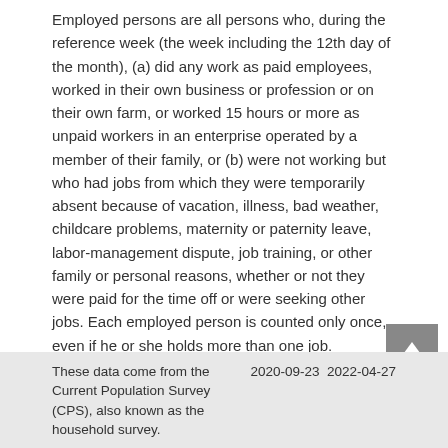Employed persons are all persons who, during the reference week (the week including the 12th day of the month), (a) did any work as paid employees, worked in their own business or profession or on their own farm, or worked 15 hours or more as unpaid workers in an enterprise operated by a member of their family, or (b) were not working but who had jobs from which they were temporarily absent because of vacation, illness, bad weather, childcare problems, maternity or paternity leave, labor-management dispute, job training, or other family or personal reasons, whether or not they were paid for the time off or were seeking other jobs. Each employed person is counted only once, even if he or she holds more than one job.
For more details, see the release's frequently asked questions (https://www.bls.gov/lau/laufaq.htm).
These data come from the Current Population Survey (CPS), also known as the household survey. 2020-09-23 2022-04-27